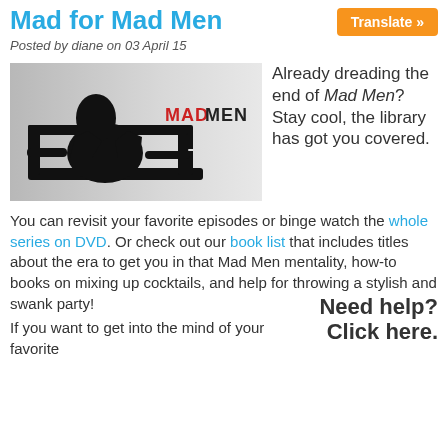Mad for Mad Men
Translate »
Posted by diane on 03 April 15
[Figure (photo): Black and white photo of a man seated in a chair from behind, with the text 'MAD MEN' visible — MAD in red, MEN in black.]
Already dreading the end of Mad Men? Stay cool, the library has got you covered.
You can revisit your favorite episodes or binge watch the whole series on DVD. Or check out our book list that includes titles about the era to get you in that Mad Men mentality, how-to books on mixing up cocktails, and help for throwing a stylish and swank party!
Need help? Click here.
If you want to get into the mind of your favorite